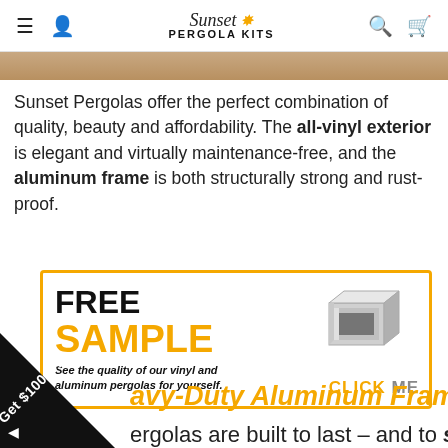Sunset Pergola Kits — navigation bar with hamburger menu, user icon, logo, search icon, cart icon
[Figure (photo): Top edge of a pergola photo, cropped]
Sunset Pergolas offer the perfect combination of quality, beauty and affordability. The all-vinyl exterior is elegant and virtually maintenance-free, and the aluminum frame is both structurally strong and rust-proof.
[Figure (infographic): Free Sample banner with orange border. Text: FREE SAMPLE — See the quality of our vinyl and aluminum pergolas for yourself. CLICK ME. Image of aluminum profile sample on right.]
avy-Duty Aluminum Frame
ergolas are built to last – and to stay